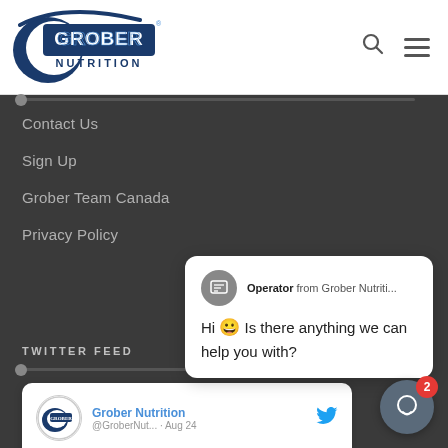[Figure (logo): Grober Nutrition logo — blue crescent/arc with bold GROBER text and NUTRITION below]
Contact Us
Sign Up
Grober Team Canada
Privacy Policy
TWITTER FEED
[Figure (screenshot): Chat popup from Operator from Grober Nutriti... saying: Hi 😀 Is there anything we can help you with?]
[Figure (screenshot): Twitter card showing Grober Nutrition @GroberNut... · Aug 24 with tweet text: Why are you adding oil of oregano to]
[Figure (screenshot): Chat button with badge showing 2]